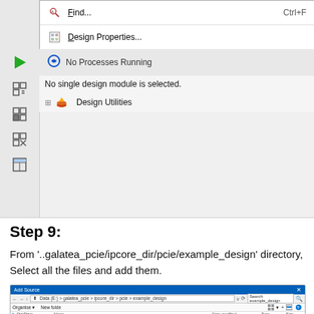[Figure (screenshot): IDE application screenshot showing a context menu with 'Find... Ctrl+F' and 'Design Properties...' items, a play button row with 'No Processes Running', a left sidebar with toolbar icons, and a content area showing 'No single design module is selected.' and 'Design Utilities'.]
Step 9:
From '..galatea_pcie/ipcore_dir/pcie/example_design' directory, Select all the files and add them.
[Figure (screenshot): Windows 'Add Source' file dialog showing navigation to Data (E:) > galatea_pcie > ipcore_dir > pcie > example_design directory, with toolbar showing Organize and New folder buttons, and column headers Name, Date modified, Type, Size. OneDrive icon visible on the left.]